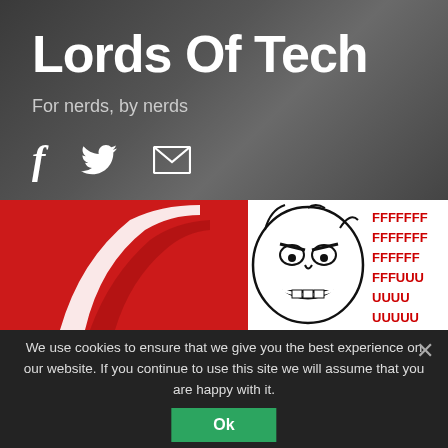Lords Of Tech
For nerds, by nerds
[Figure (screenshot): Social media icons: Facebook (f), Twitter bird, email envelope]
[Figure (screenshot): Website content area showing Adobe Flash logo on red background on left, rage face meme with FFFFFFFF FFFFFFF FFFFFF FFFUUU UUUU UUUUU text on right]
We use cookies to ensure that we give you the best experience on our website. If you continue to use this site we will assume that you are happy with it.